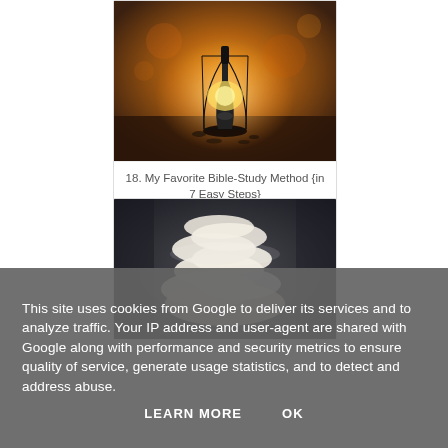[Figure (photo): A lit oil lantern / kerosene lamp glowing warmly on a rocky ground with a bokeh background of warm orange light]
18. My Favorite Bible-Study Method {in 7 Easy Steps}
[Figure (photo): White powdery cookies or baked goods stacked together on a dark background]
This site uses cookies from Google to deliver its services and to analyze traffic. Your IP address and user-agent are shared with Google along with performance and security metrics to ensure quality of service, generate usage statistics, and to detect and address abuse.
LEARN MORE
OK